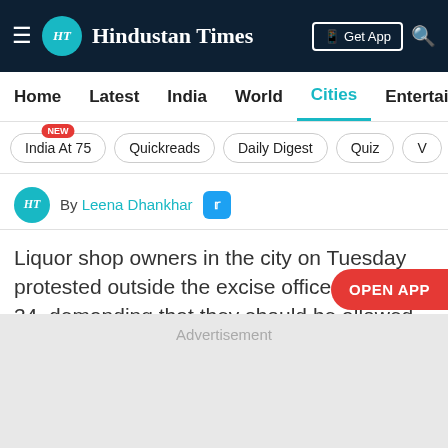Hindustan Times
Home  Latest  India  World  Cities  Entertainment
India At 75  Quickreads  Daily Digest  Quiz  V
By Leena Dhankhar
Liquor shop owners in the city on Tuesday protested outside the excise office in Sector 34, demanding that they should be allowed to keep their shops open till 11pm instead of 5pm under the current Covid-19 guidelines.
[Figure (other): Advertisement placeholder box]